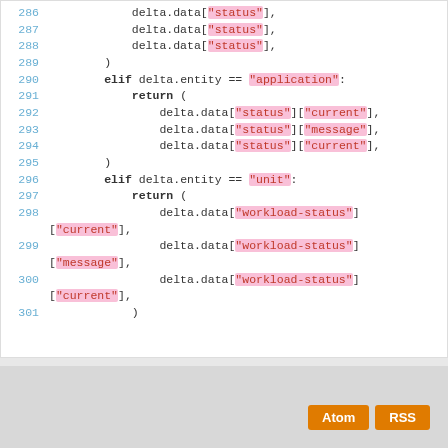[Figure (screenshot): Code snippet showing Python lines 286-301 with syntax highlighting. Lines show delta.data access patterns for status, application, unit entities with string keys highlighted in pink.]
Atom  RSS